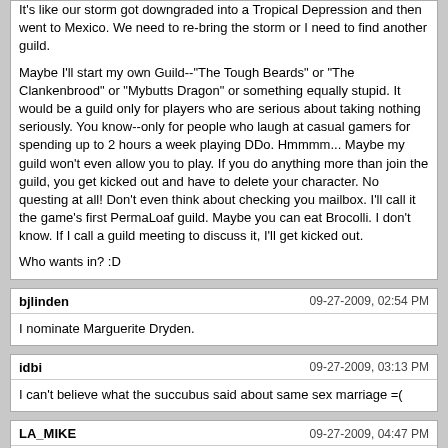It's like our storm got downgraded into a Tropical Depression and then went to Mexico. We need to re-bring the storm or I need to find another guild.

Maybe I'll start my own Guild--"The Tough Beards" or "The Clankenbrood" or "Mybutts Dragon" or something equally stupid. It would be a guild only for players who are serious about taking nothing seriously. You know--only for people who laugh at casual gamers for spending up to 2 hours a week playing DDo. Hmmmm... Maybe my guild won't even allow you to play. If you do anything more than join the guild, you get kicked out and have to delete your character. No questing at all! Don't even think about checking you mailbox. I'll call it the game's first PermaLoaf guild. Maybe you can eat Brocolli. I don't know. If I call a guild meeting to discuss it, I'll get kicked out.

Who wants in? :D
bjlinden	09-27-2009, 02:54 PM
I nominate Marguerite Dryden.
idbi	09-27-2009, 03:13 PM
I can't believe what the succubus said about same sex marriage =(
LA_MIKE	09-27-2009, 04:47 PM
Nominee: Dead Girl (Valak's Mausolem)
Lessah	09-27-2009, 10:37 PM
I nominate Marguerite Dryden.

Are you sure? I mean... I do not know if the competition can handle this:

http://i175.photobucket.com/albums/w142/bonnieology/Miss%20Stormreach/ScreenSh...